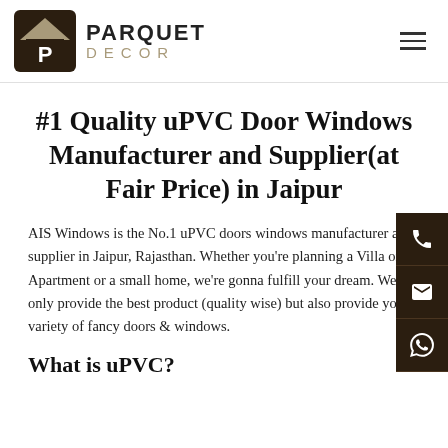PARQUET DECOR
#1 Quality uPVC Door Windows Manufacturer and Supplier(at Fair Price) in Jaipur
AIS Windows is the No.1 uPVC doors windows manufacturer and supplier in Jaipur, Rajasthan. Whether you're planning a Villa or an Apartment or a small home, we're gonna fulfill your dream. We not only provide the best product (quality wise) but also provide you a variety of fancy doors & windows.
What is uPVC?